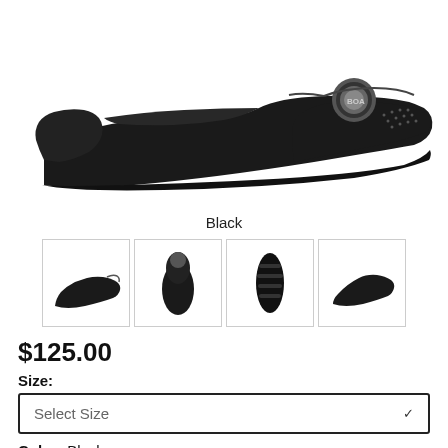[Figure (photo): Side view of a black cycling road shoe with BOA dial closure and perforated upper, shown on white background]
Black
[Figure (photo): Four thumbnail images of a black cycling shoe: side view, front view, sole/bottom view, and angled side view]
$125.00
Size:
Select Size
Color: Black